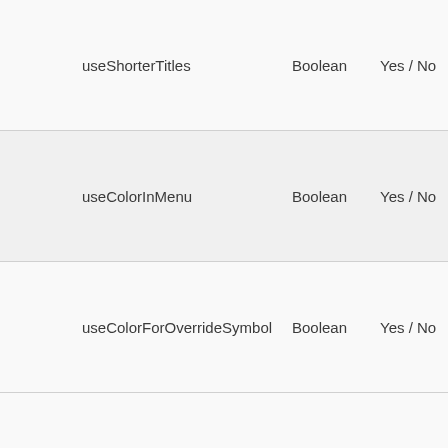| Property | Type | Values | Default |
| --- | --- | --- | --- |
| useShorterTitles | Boolean | Yes / No | Yes |
| useColorInMenu | Boolean | Yes / No | Yes |
| useColorForOverrideSymbol | Boolean | Yes / No | Yes |